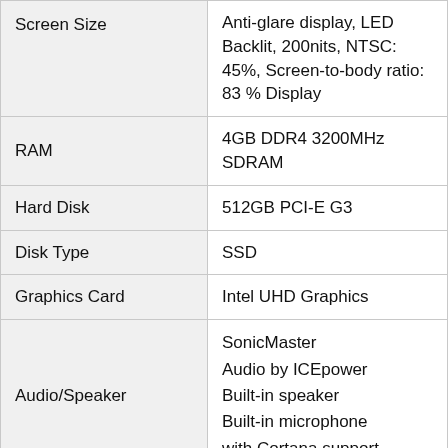| Spec | Value |
| --- | --- |
| Screen Size | Anti-glare display, LED Backlit, 200nits, NTSC: 45%, Screen-to-body ratio: 83 % Display |
| RAM | 4GB DDR4 3200MHz SDRAM |
| Hard Disk | 512GB PCI-E G3 |
| Disk Type | SSD |
| Graphics Card | Intel UHD Graphics |
| Audio/Speaker | SonicMaster
Audio by ICEpower
Built-in speaker
Built-in microphone
with Cortana support |
| Networking | Wi-Fi 5 802.11ac / Bluetooth 4.1 |
| Webcam | VGA Camera |